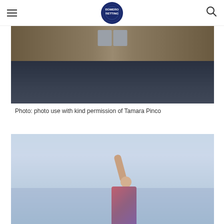Navigation header with hamburger menu, circular logo, and search icon
[Figure (photo): Close-up photo of a wooden dock/pier beam with metal bracket hardware over dark water]
Photo: photo use with kind permission of Tamara Pinco
[Figure (photo): Person with arm raised against a cloudy sky background, wearing a plaid shirt]